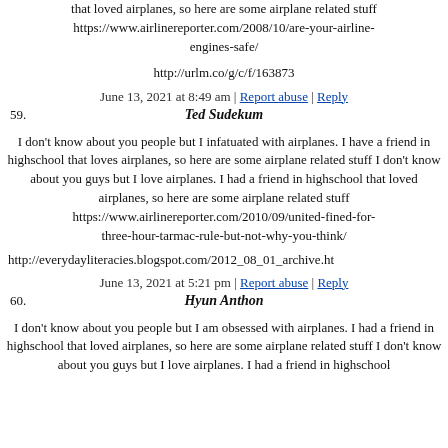that loved airplanes, so here are some airplane related stuff https://www.airlinereporter.com/2008/10/are-your-airline-engines-safe/
http://urlm.co/g/c/f/163873
June 13, 2021 at 8:49 am | Report abuse | Reply
59. Ted Sudekum
I don't know about you people but I infatuated with airplanes. I have a friend in highschool that loves airplanes, so here are some airplane related stuff I don't know about you guys but I love airplanes. I had a friend in highschool that loved airplanes, so here are some airplane related stuff https://www.airlinereporter.com/2010/09/united-fined-for-three-hour-tarmac-rule-but-not-why-you-think/
http://everydayliteracies.blogspot.com/2012_08_01_archive.ht
June 13, 2021 at 5:21 pm | Report abuse | Reply
60. Hyun Anthon
I don't know about you people but I am obsessed with airplanes. I had a friend in highschool that loved airplanes, so here are some airplane related stuff I don't know about you guys but I love airplanes. I had a friend in highschool